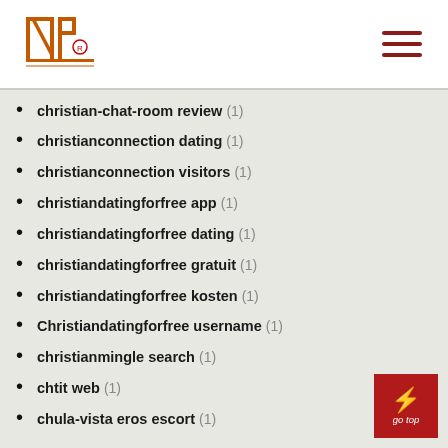INP logo and navigation
christian-chat-room review (1)
christianconnection dating (1)
christianconnection visitors (1)
christiandatingforfree app (1)
christiandatingforfree dating (1)
christiandatingforfree gratuit (1)
christiandatingforfree kosten (1)
Christiandatingforfree username (1)
christianmingle search (1)
chtit web (1)
chula-vista eros escort (1)